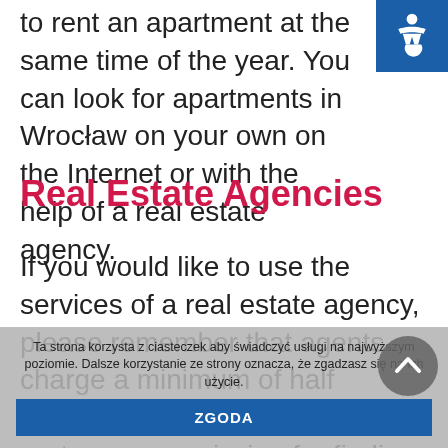to rent an apartment at the same time of the year. You can look for apartments in Wrocław on your own on the Internet or with the help of a real estate agency.
Real Estate Agencies
If you would like to use the services of a real estate agency, please remember that agents charge a minimum of half month's rent up to one month's rent as a commission for finding an apartment to rent (when you buy an apartment, the commissions range from 1% to 3% of the
Ta strona korzysta z ciasteczek aby świadczyć usługi na najwyższym poziomie. Dalsze korzystanie ze strony oznacza, że zgadzasz się na ich użycie.